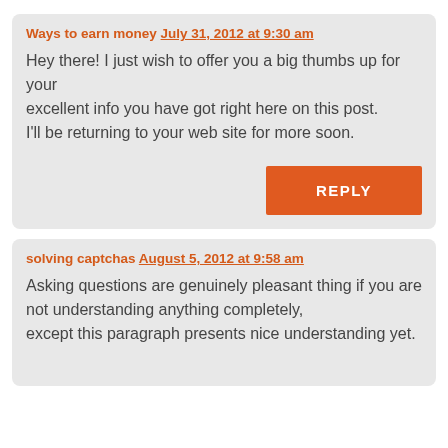Ways to earn money July 31, 2012 at 9:30 am
Hey there! I just wish to offer you a big thumbs up for your excellent info you have got right here on this post. I'll be returning to your web site for more soon.
REPLY
solving captchas August 5, 2012 at 9:58 am
Asking questions are genuinely pleasant thing if you are not understanding anything completely, except this paragraph presents nice understanding yet.